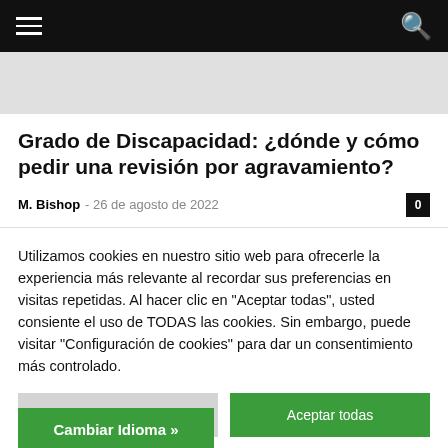≡  🔍
Grado de Discapacidad: ¿dónde y cómo pedir una revisión por agravamiento?
M. Bishop – 26 de agosto de 2022   0
Utilizamos cookies en nuestro sitio web para ofrecerle la experiencia más relevante al recordar sus preferencias en visitas repetidas. Al hacer clic en "Aceptar todas", usted consiente el uso de TODAS las cookies. Sin embargo, puede visitar "Configuración de cookies" para dar un consentimiento más controlado.
Configuración de cookies   Aceptar todas
Cambiar Idioma »